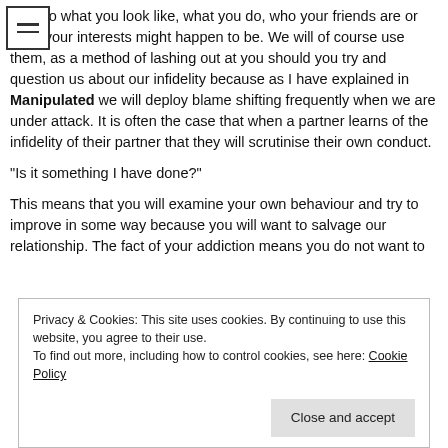…ction to what you look like, what you do, who your friends are or what your interests might happen to be. We will of course use them, as a method of lashing out at you should you try and question us about our infidelity because as I have explained in Manipulated we will deploy blame shifting frequently when we are under attack. It is often the case that when a partner learns of the infidelity of their partner that they will scrutinise their own conduct.
“Is it something I have done?”
This means that you will examine your own behaviour and try to improve in some way because you will want to salvage our relationship. The fact of your addiction means you do not want to
Privacy & Cookies: This site uses cookies. By continuing to use this website, you agree to their use.
To find out more, including how to control cookies, see here: Cookie Policy
Close and accept